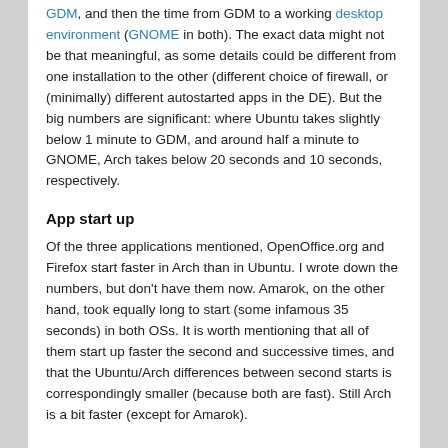GDM, and then the time from GDM to a working desktop environment (GNOME in both). The exact data might not be that meaningful, as some details could be different from one installation to the other (different choice of firewall, or (minimally) different autostarted apps in the DE). But the big numbers are significant: where Ubuntu takes slightly below 1 minute to GDM, and around half a minute to GNOME, Arch takes below 20 seconds and 10 seconds, respectively.
App start up
Of the three applications mentioned, OpenOffice.org and Firefox start faster in Arch than in Ubuntu. I wrote down the numbers, but don't have them now. Amarok, on the other hand, took equally long to start (some infamous 35 seconds) in both OSs. It is worth mentioning that all of them start up faster the second and successive times, and that the Ubuntu/Arch differences between second starts is correspondingly smaller (because both are fast). Still Arch is a bit faster (except for Amarok).